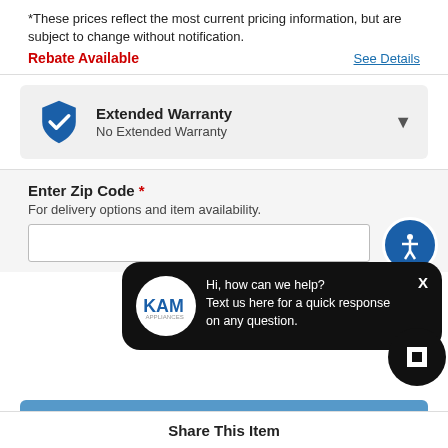*These prices reflect the most current pricing information, but are subject to change without notification.
Rebate Available
See Details
Extended Warranty
No Extended Warranty
Enter Zip Code *
For delivery options and item availability.
Hi, how can we help? Text us here for a quick response on any question.
Add to Cart
Share This Item